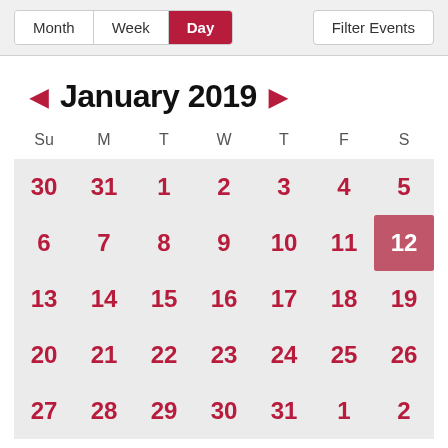Month | Week | Day | Filter Events
January 2019
| Su | M | T | W | T | F | S |
| --- | --- | --- | --- | --- | --- | --- |
| 30 | 31 | 1 | 2 | 3 | 4 | 5 |
| 6 | 7 | 8 | 9 | 10 | 11 | 12 |
| 13 | 14 | 15 | 16 | 17 | 18 | 19 |
| 20 | 21 | 22 | 23 | 24 | 25 | 26 |
| 27 | 28 | 29 | 30 | 31 | 1 | 2 |